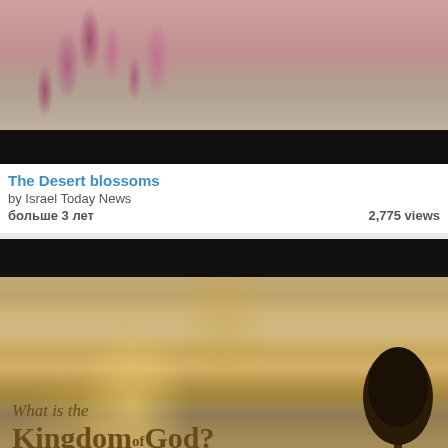[Figure (photo): Close-up photo of pink desert blossoms with rocky background, with a black bar overlay at the bottom of the image]
The Desert blossoms
by Israel Today News
больше 3 лет    2,775 views
[Figure (photo): Photo of a dramatic sky with sunbeams and a silhouetted tree, with text overlay reading 'What is the Kingdom of God?' and a black bar at the top]